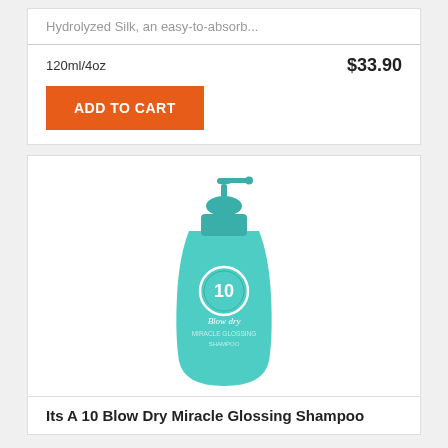Hydrolyzed Silk, an easy-to-absorb...
120ml/4oz
$33.90
ADD TO CART
[Figure (photo): Its A 10 Blow Dry Miracle Glossing Shampoo bottle in teal/mint green pump dispenser with the number 10 logo on front]
Its A 10 Blow Dry Miracle Glossing Shampoo